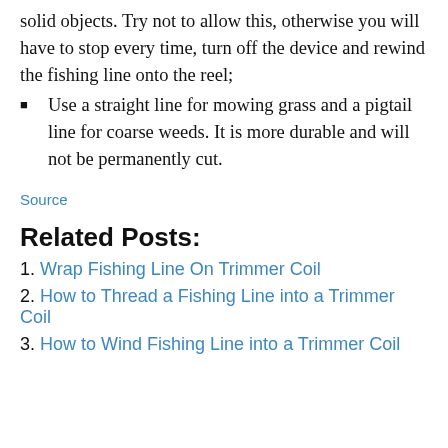solid objects. Try not to allow this, otherwise you will have to stop every time, turn off the device and rewind the fishing line onto the reel;
Use a straight line for mowing grass and a pigtail line for coarse weeds. It is more durable and will not be permanently cut.
Source
Related Posts:
Wrap Fishing Line On Trimmer Coil
How to Thread a Fishing Line into a Trimmer Coil
How to Wind Fishing Line into a Trimmer Coil